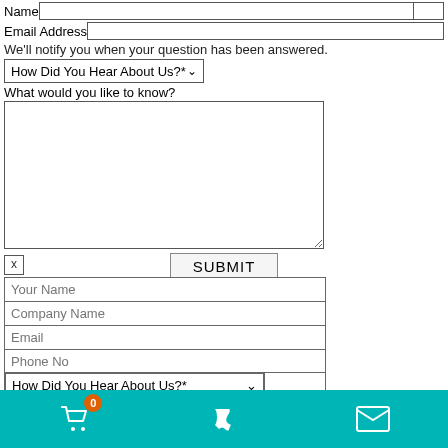Name
Email Address
We'll notify you when your question has been answered.
How Did You Hear About Us?*
What would you like to know?
SUBMIT
×
Your Name
Company Name
Email
Phone No
How Did You Hear About Us?*
Message